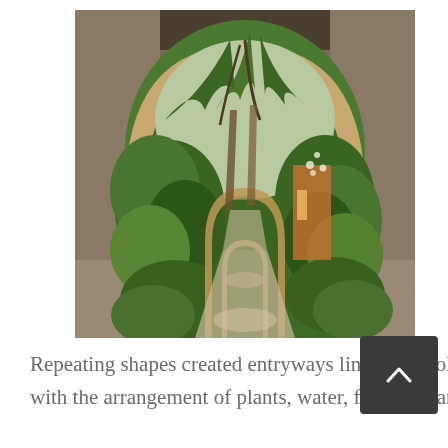[Figure (photo): A Moroccan-style archway (horseshoe arch) framing a garden pathway lined with palm trees and lush green foliage. Beyond the arch, a series of smaller arches recede into the distance. The walls are warm terracotta/orange-yellow tones. A paved path leads through the archways into a verdant garden.]
Repeating shapes created entryways lined with foliage. Extreme heat was reduced with the arrangement of plants, water, fountains and shiny